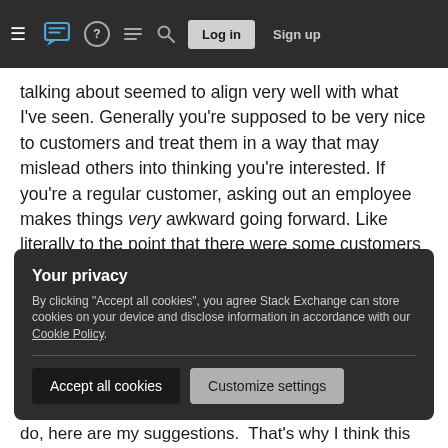Stack Exchange navigation bar with logo, help, chat, search, Log in, Sign up
talking about seemed to align very well with what I've seen. Generally you're supposed to be very nice to customers and treat them in a way that may mislead others into thinking you're interested. If you're a regular customer, asking out an employee makes things very awkward going forward. Like literally to the point that there were some customers that I had to specifically avoid sitting in some sections because they would get extremely anxious about serving them.
Your privacy
By clicking "Accept all cookies", you agree Stack Exchange can store cookies on your device and disclose information in accordance with our Cookie Policy.
do, here are my suggestions.  That's why I think this